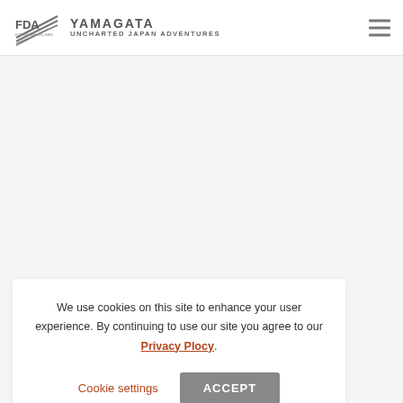FDA YAMAGATA UNCHARTED JAPAN ADVENTURES
We use cookies on this site to enhance your user experience. By continuing to use our site you agree to our Privacy Plocy.
Cookie settings  ACCEPT